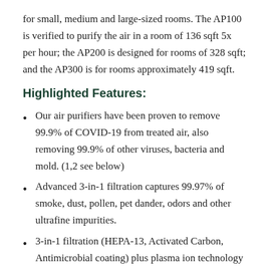for small, medium and large-sized rooms. The AP100 is verified to purify the air in a room of 136 sqft 5x per hour; the AP200 is designed for rooms of 328 sqft; and the AP300 is for rooms approximately 419 sqft.
Highlighted Features:
Our air purifiers have been proven to remove 99.9% of COVID-19 from treated air, also removing 99.9% of other viruses, bacteria and mold. (1,2 see below)
Advanced 3-in-1 filtration captures 99.97% of smoke, dust, pollen, pet dander, odors and other ultrafine impurities.
3-in-1 filtration (HEPA-13, Activated Carbon, Antimicrobial coating) plus plasma ion technology